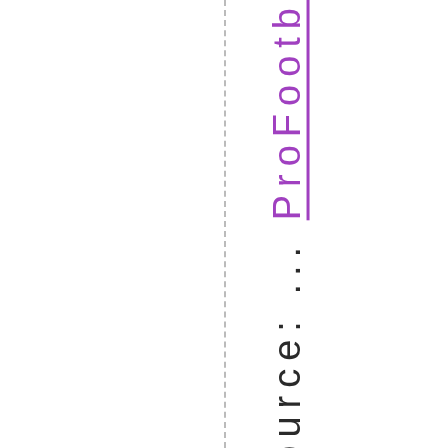million ... Source: ... ProFootb